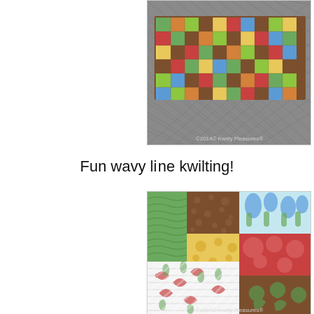[Figure (photo): A colorful patchwork quilt table runner displayed on a metal mesh patio table. The runner features small squares of various patterned fabrics in greens, reds, browns, yellows, and blues. Watermark reads '2014© Kwilty Pleasures®'.]
Fun wavy line kwilting!
[Figure (photo): A close-up photo of a patchwork quilt showing colorful fabric squares with floral and nature patterns in greens, blues, reds, browns, and yellows. The quilting shows wavy lines stitched across the fabric. Watermark reads '2014© Kwilty Pleasures®'.]